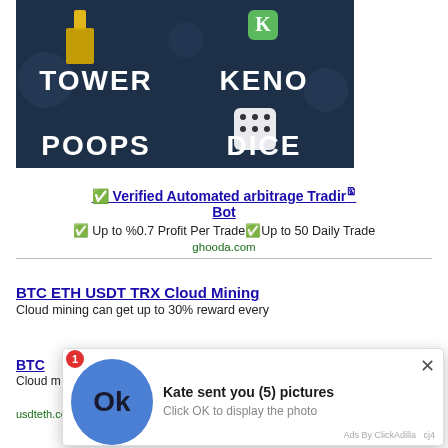[Figure (screenshot): Game banner showing TOWER, KENO, POOPS, DICE game icons on dark background]
✅ Verified Automated arbitrage Trading Bot
✅ Up to %0.7 Profit Per Trade✅Up to 50 Daily Trade
ghooda.com
BTC ETH USDT TRX Cloud Mining
Cloud mining can get up to 30% reward every
BTC ...
Cloud m...
Kate sent you (5) pictures
Click OK to display the photo
Ads By ClickAdilla  cj4